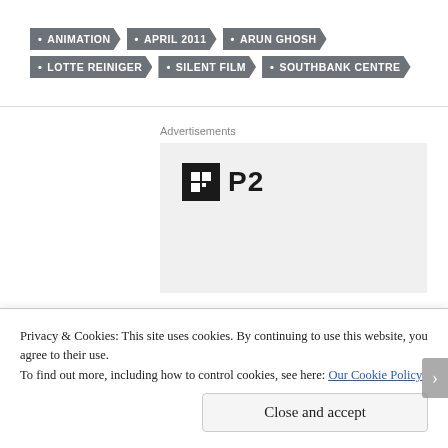ANIMATION
APRIL 2011
ARUN GHOSH
LOTTE REINIGER
SILENT FILM
SOUTHBANK CENTRE
Advertisements
[Figure (logo): Advertisement placeholder showing a black square icon with grid lines and text 'P2' beside it]
Privacy & Cookies: This site uses cookies. By continuing to use this website, you agree to their use.
To find out more, including how to control cookies, see here: Our Cookie Policy